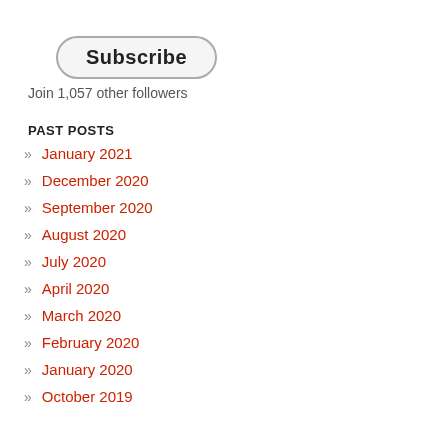[Figure (other): Subscribe button with rounded rectangle border]
Join 1,057 other followers
PAST POSTS
» January 2021
» December 2020
» September 2020
» August 2020
» July 2020
» April 2020
» March 2020
» February 2020
» January 2020
» October 2019